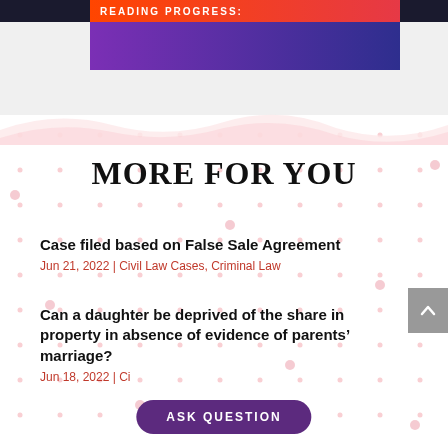READING PROGRESS:
MORE FOR YOU
Case filed based on False Sale Agreement
Jun 21, 2022 | Civil Law Cases, Criminal Law
Can a daughter be deprived of the share in property in absence of evidence of parents’ marriage?
Jun 18, 2022 | Civ...
ASK QUESTION